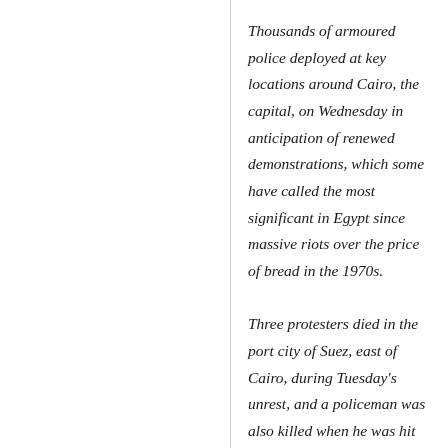Thousands of armoured police deployed at key locations around Cairo, the capital, on Wednesday in anticipation of renewed demonstrations, which some have called the most significant in Egypt since massive riots over the price of bread in the 1970s.

Three protesters died in the port city of Suez, east of Cairo, during Tuesday's unrest, and a policeman was also killed when he was hit in the head with a rock in Cairo, an interior ministry official